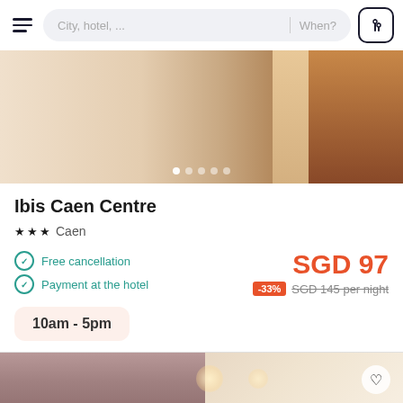City, hotel, ...  When?
[Figure (photo): Hotel room interior showing a bed with white linens and wooden floor, with orange/brown door visible in background]
Ibis Caen Centre
★★★  Caen
Free cancellation
Payment at the hotel
SGD 97
-33%  SGD 145 per night
10am - 5pm
[Figure (photo): Hotel room interior showing curtains on left and a lit room with ceiling lights on right, with heart/favorite button]